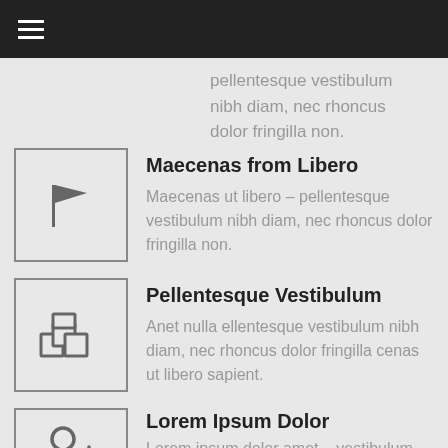pellentesque vestibulum nibh diam, nec rhoncus dolor fringilla non.
Maecenas from Libero
Maecenas ut libero – pellentesque vestibulum nibh diam, nec rhoncus dolor fringilla non.
Pellentesque Vestibulum
Anet nulla ellentesque vestibulum nibh diam, nec rhoncus dolor fringilla cenas ut libero sapient.
Lorem Ipsum Dolor
Lorem ipsum dolor amet – vestibulum nibh